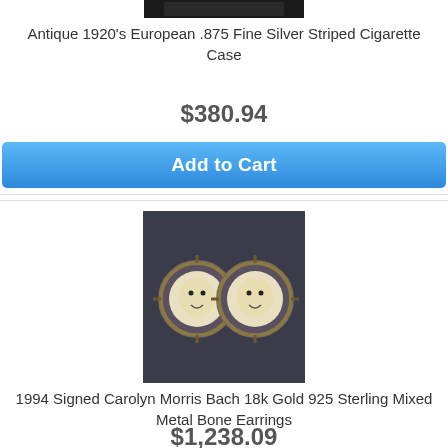[Figure (photo): Partial image of Antique 1920s European silver cigarette case, dark background, partially cropped at top]
Antique 1920's European .875 Fine Silver Striped Cigarette Case
$380.94
Add to Cart
[Figure (photo): Two circular mixed metal earrings with bone face/moon design, signed Carolyn Morris Bach, 18k gold and 925 sterling, on dark background]
1994 Signed Carolyn Morris Bach 18k Gold 925 Sterling Mixed Metal Bone Earrings
$1,238.09